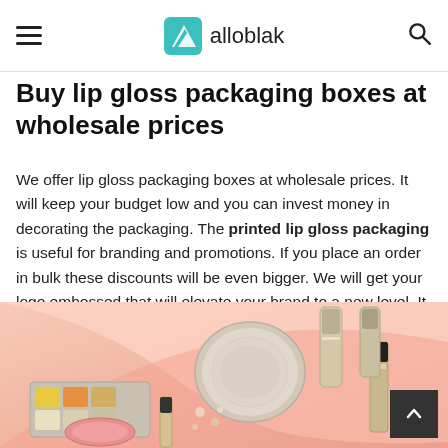alloblak
Buy lip gloss packaging boxes at wholesale prices
We offer lip gloss packaging boxes at wholesale prices. It will keep your budget low and you can invest money in decorating the packaging. The printed lip gloss packaging is useful for branding and promotions. If you place an order in bulk these discounts will be even bigger. We will get your logo embossed that will elevate your brand to a new level. It is also easy to grab yearend sales for getting big discounts and deals.
[Figure (photo): Cosmetics product flatlay photo showing makeup items including eyeshadow palette, lip gloss, foundation tubes, compact powder, and blush on a pink and peach background]